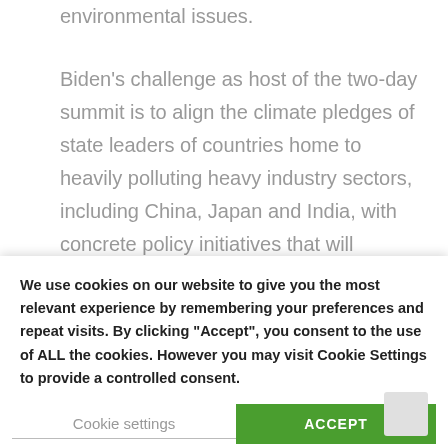environmental issues.
Biden's challenge as host of the two-day summit is to align the climate pledges of state leaders of countries home to heavily polluting heavy industry sectors, including China, Japan and India, with concrete policy initiatives that will allocate state funding to accelerate industrial decarbonization.  Biden himself
We use cookies on our website to give you the most relevant experience by remembering your preferences and repeat visits. By clicking “Accept”, you consent to the use of ALL the cookies. However you may visit Cookie Settings to provide a controlled consent.